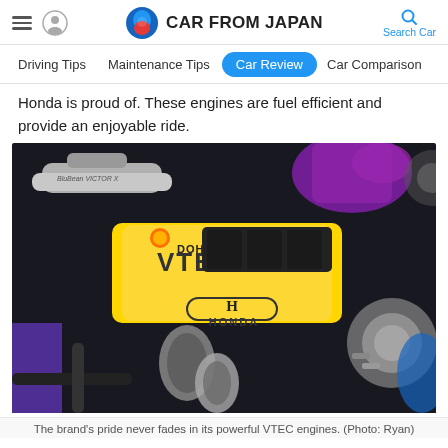CAR FROM JAPAN
Driving Tips  Maintenance Tips  Car Review  Car Comparison
Honda is proud of. These engines are fuel efficient and provide an enjoyable ride.
[Figure (photo): A yellow Honda DOHC VTEC engine in an engine bay with purple accents and chrome exhaust pipes, heavily modified.]
The brand's pride never fades in its powerful VTEC engines. (Photo: Ryan)